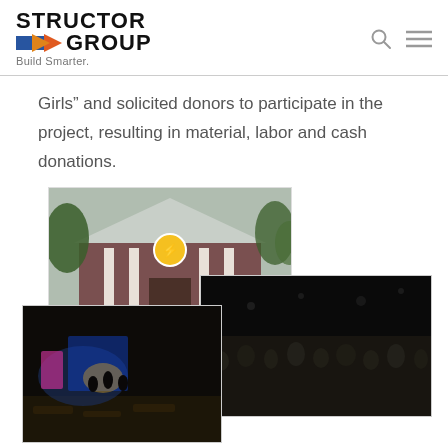STRUCTOR GROUP — Build Smarter.
Girls” and solicited donors to participate in the project, resulting in material, labor and cash donations.
[Figure (photo): Three overlapping photographs: a brick building with a gabled roof and a circular logo sign, surrounded by trees; a dark interior with colorful stage lighting and tables/benches; a large dark auditorium with a crowd of people.]